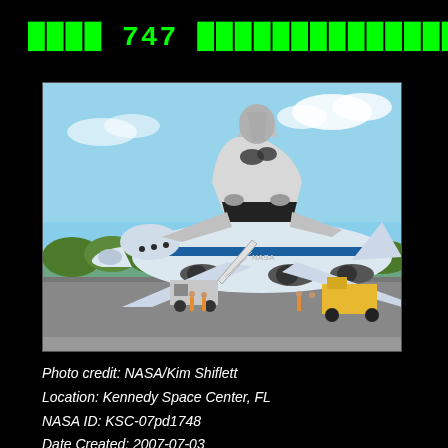████ 747 ██████████████
[Figure (photo): A Space Shuttle orbiter mounted atop a NASA 747 Shuttle Carrier Aircraft on the tarmac at Kennedy Space Center. Ground crew and support vehicles including a yellow forklift and stairs truck are visible nearby. Blue sky with light clouds in background.]
Photo credit: NASA/Kim Shiflett
Location: Kennedy Space Center, FL
NASA ID: KSC-07pd1748
Date Created: 2007-07-03